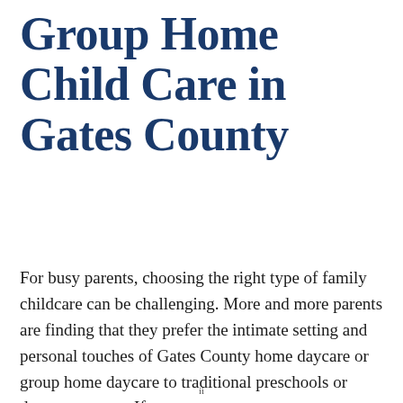Group Home Child Care in Gates County
For busy parents, choosing the right type of family childcare can be challenging. More and more parents are finding that they prefer the intimate setting and personal touches of Gates County home daycare or group home daycare to traditional preschools or daycare centers. If
ii